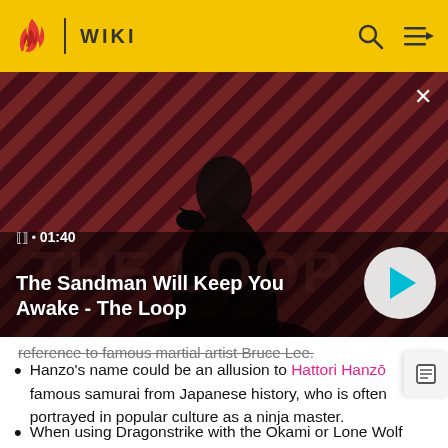WIKI
[Figure (screenshot): Video thumbnail for 'The Sandman Will Keep You Awake - The Loop' showing a dark-cloaked figure with a raven on shoulder against a red and black striped background. Duration shown as 01:40 with a play button.]
reference to famous martial artist Bruce Lee.
Hanzo's name could be an allusion to Hattori Hanzō famous samurai from Japanese history, who is often portrayed in popular culture as a ninja master.
When using Dragonstrike with the Okami or Lone Wolf skin, the dragons are replaced with wolves. The voice